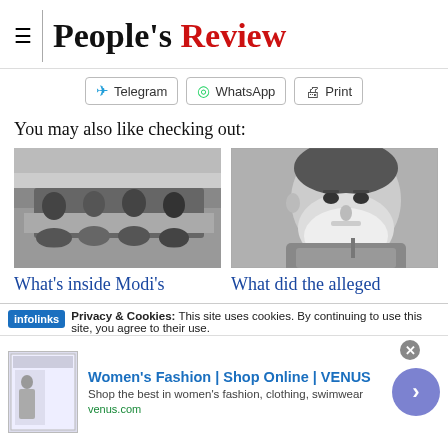People's Review
Telegram   WhatsApp   Print
You may also like checking out:
[Figure (photo): Black and white photo of people seated around a conference table in a meeting room]
[Figure (photo): Black and white close-up photo of a bearded man, appears to be Narendra Modi]
What's inside Modi's
What did the alleged
Privacy & Cookies: This site uses cookies. By continuing to use this site, you agree to their use.
Women's Fashion | Shop Online | VENUS
Shop the best in women's fashion, clothing, swimwear
venus.com